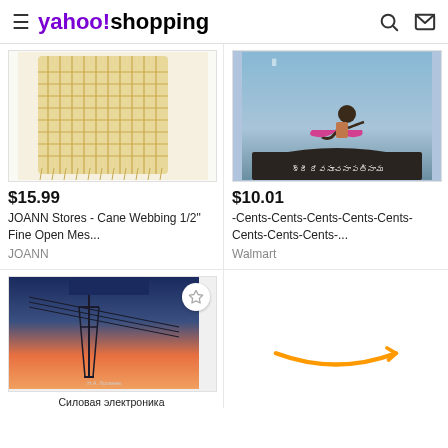yahoo!shopping
[Figure (photo): Cane webbing mesh fabric product photo on white background]
[Figure (photo): Person in yoga pose on rocks near water, album/book cover with Telugu script text]
$15.99
JOANN Stores - Cane Webbing 1/2" Fine Open Mes...
JOANN
$10.01
-Cents-Cents-Cents-Cents-Cents-Cents-Cents-Cents-...
Walmart
[Figure (photo): Book cover: Силовая электроника - Power electronics textbook with power tower at sunset]
[Figure (logo): Amazon smile logo]